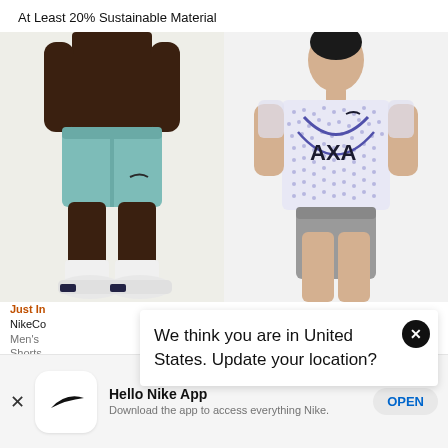At Least 20% Sustainable Material
[Figure (photo): Two product images side by side: left shows a man wearing teal/mint athletic shorts and white Nike sneakers on light gray background; right shows a man wearing a white/lavender Nike AXA patterned jersey with gray shorts on light gray background]
Just In
NikeCo
Men's
Shorts
We think you are in United States. Update your location?
Hello Nike App
Download the app to access everything Nike.
OPEN